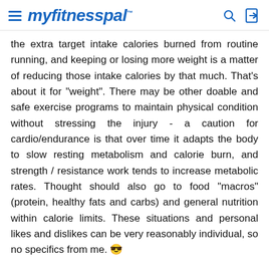myfitnesspal
the extra target intake calories burned from routine running, and keeping or losing more weight is a matter of reducing those intake calories by that much. That's about it for "weight". There may be other doable and safe exercise programs to maintain physical condition without stressing the injury - a caution for cardio/endurance is that over time it adapts the body to slow resting metabolism and calorie burn, and strength / resistance work tends to increase metabolic rates. Thought should also go to food "macros" (protein, healthy fats and carbs) and general nutrition within calorie limits. These situations and personal likes and dislikes can be very reasonably individual, so no specifics from me. 😎